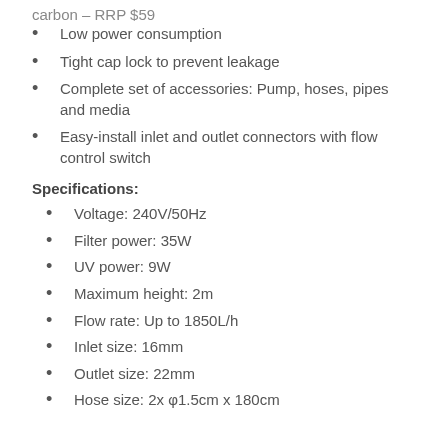carbon – RRP $59
Low power consumption
Tight cap lock to prevent leakage
Complete set of accessories: Pump, hoses, pipes and media
Easy-install inlet and outlet connectors with flow control switch
Specifications:
Voltage: 240V/50Hz
Filter power: 35W
UV power: 9W
Maximum height: 2m
Flow rate: Up to 1850L/h
Inlet size: 16mm
Outlet size: 22mm
Hose size: 2x φ1.5cm x 180cm